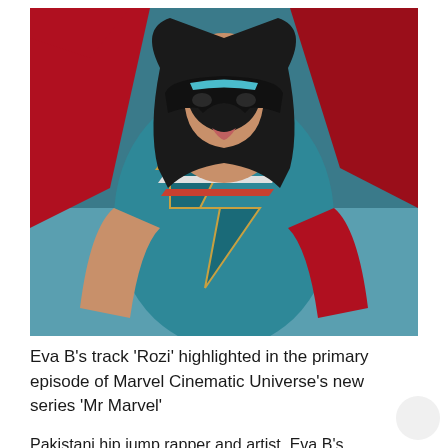[Figure (photo): Ms. Marvel character in teal and red superhero costume with lightning bolt design, wearing a black and teal mask, with flowing red fabric/cape and long dark wavy hair, against a teal background.]
Eva B's track ‘Rozi’ highlighted in the primary episode of Marvel Cinematic Universe’s new series ‘Mr Marvel’
Pakistani hip jump rapper and artist, Eva B’s